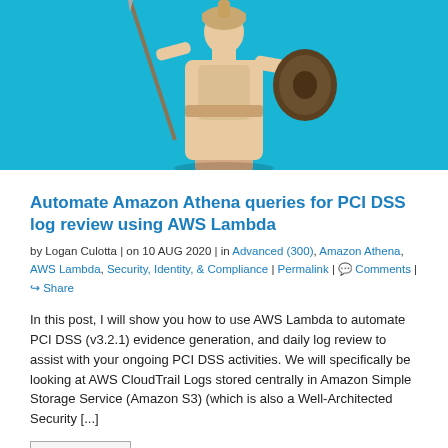[Figure (photo): Athena statue on cyan/turquoise background — Greek goddess holding spear and shield]
Automate Amazon Athena queries for PCI DSS log review using AWS Lambda
by Logan Culotta | on 10 AUG 2020 | in Advanced (300), Amazon Athena, AWS Lambda, Security, Identity, & Compliance | Permalink | Comments | Share
In this post, I will show you how to use AWS Lambda to automate PCI DSS (v3.2.1) evidence generation, and daily log review to assist with your ongoing PCI DSS activities. We will specifically be looking at AWS CloudTrail Logs stored centrally in Amazon Simple Storage Service (Amazon S3) (which is also a Well-Architected Security [...]
Read More
[Figure (logo): AWS green shield/box logo — partial view at bottom of page]